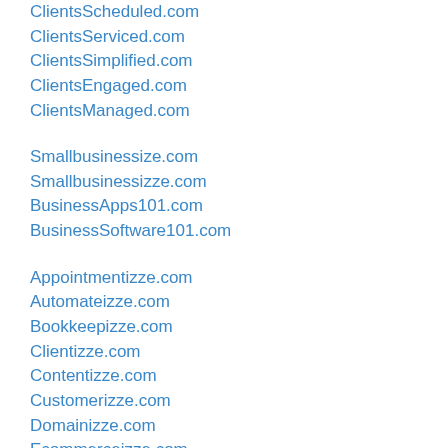ClientsScheduled.com
ClientsServiced.com
ClientsSimplified.com
ClientsEngaged.com
ClientsManaged.com
Smallbusinessize.com
Smallbusinessizze.com
BusinessApps101.com
BusinessSoftware101.com
Appointmentizze.com
Automateizze.com
Bookkeepizze.com
Clientizze.com
Contentizze.com
Customerizze.com
Domainizze.com
Ecommerceizze.com
Emailizze.com